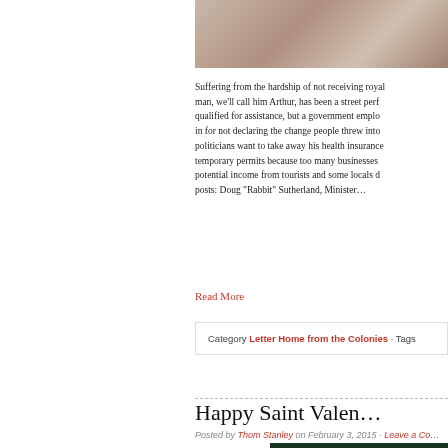[Figure (photo): Partial photo visible at top right, showing what appears to be outdoor scene with colored objects]
Suffering from the hardship of not receiving royal... man, we'll call him Arthur, has been a street perf... qualified for assistance, but a government emplo... in for not declaring the change people threw into... politicians want to take away his health insurance... temporary permits because too many businesses... potential income from tourists and some locals d... posts: Doug "Rabbit" Sutherland, Minister…
Read More
Category Letter Home from the Colonies · Tags
Happy Saint Valen…
Posted by Thom Stanley on February 3, 2015 · Leave a Co…
[Figure (photo): Partial photo visible at bottom right, dark green background]